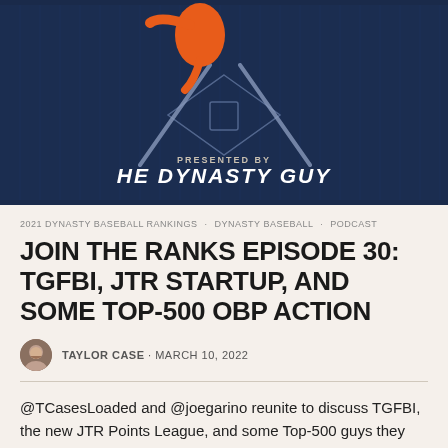[Figure (illustration): Podcast artwork for 'Join The Ranks' episode on a dark navy blue pinstripe background with crossed baseball bats, a baseball diamond logo, and orange/white illustrated baseball player figure. Text reads 'PRESENTED BY' and 'THE DYNASTY GUY' at the bottom.]
2021 DYNASTY BASEBALL RANKINGS · DYNASTY BASEBALL · PODCAST
JOIN THE RANKS EPISODE 30: TGFBI, JTR STARTUP, AND SOME TOP-500 OBP ACTION
TAYLOR CASE · MARCH 10, 2022
@TCasesLoaded and @joegarino reunite to discuss TGFBI, the new JTR Points League, and some Top-500 guys they